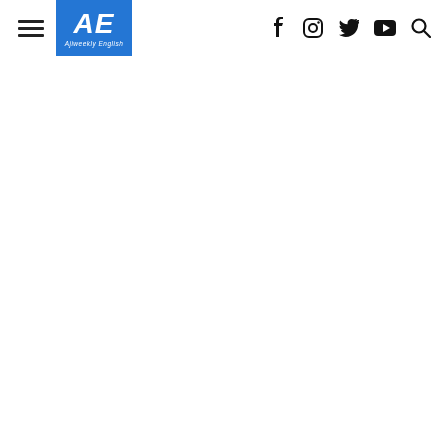AE Ajiweekly English — navigation bar with hamburger menu, logo, and social icons (Facebook, Instagram, Twitter, YouTube, Search)
[Figure (photo): A landscape/nature photograph visible at the top of the page behind the navigation header, showing rocky or earthy terrain with muted brown, olive, and tan tones.]